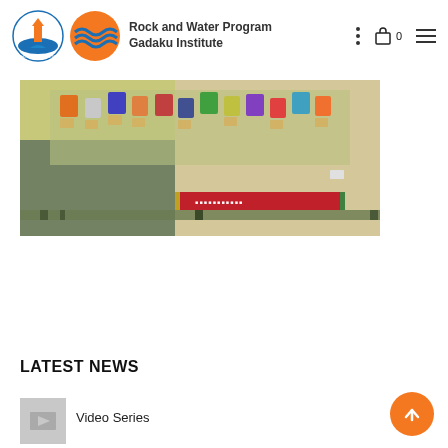Rock and Water Program Gadaku Institute
[Figure (photo): Group photo of students/participants taken from above, holding papers, in a classroom or gymnasium setting with a red banner visible at the bottom.]
LATEST NEWS
[Figure (photo): Thumbnail placeholder image for Video Series news item]
Video Series